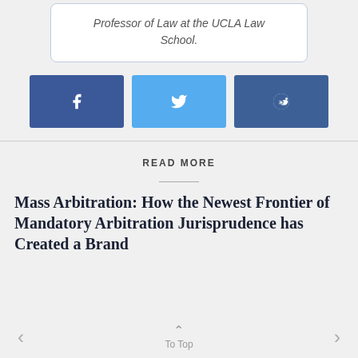Professor of Law at the UCLA Law School.
[Figure (infographic): Three social share buttons: Facebook (dark blue), Twitter (light blue), Reddit (dark blue)]
READ MORE
Mass Arbitration: How the Newest Frontier of Mandatory Arbitration Jurisprudence has Created a Brand
< To Top >